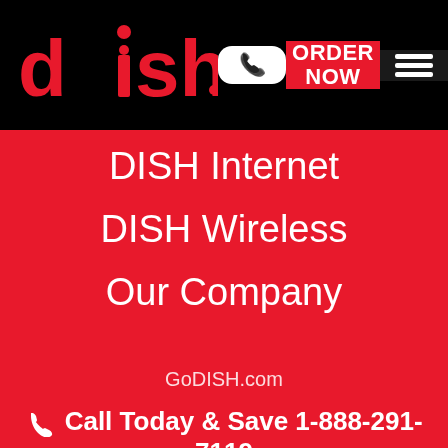[Figure (logo): DISH logo in red on black header bar, with phone icon button, ORDER NOW button in red, and hamburger menu button]
DISH Internet
DISH Wireless
Our Company
GoDISH.com
Call Today & Save 1-888-291-7119